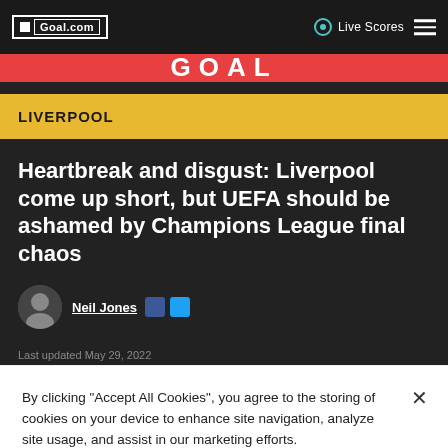Goal.com | Live Scores
GOAL
LIVERPOOL
Heartbreak and disgust: Liverpool come up short, but UEFA should be ashamed by Champions League final chaos
Neil Jones
By clicking "Accept All Cookies", you agree to the storing of cookies on your device to enhance site navigation, analyze site usage, and assist in our marketing efforts.
Cookies Settings | Accept All Cookies